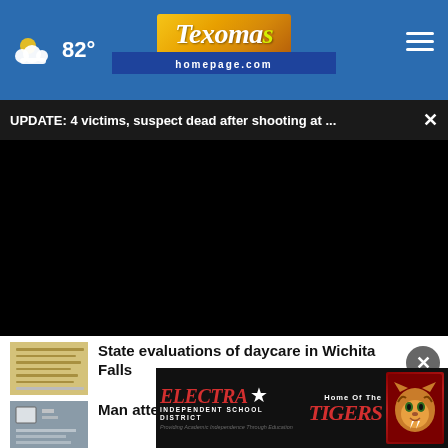82° — Texoma's homepage.com
UPDATE: 4 victims, suspect dead after shooting at ...
[Figure (screenshot): Black video player area]
State evaluations of daycare in Wichita Falls
Man attempts to stab coach, ...
[Figure (infographic): Electra Independent School District — Home Of The Tigers advertisement banner with tiger mascot image]